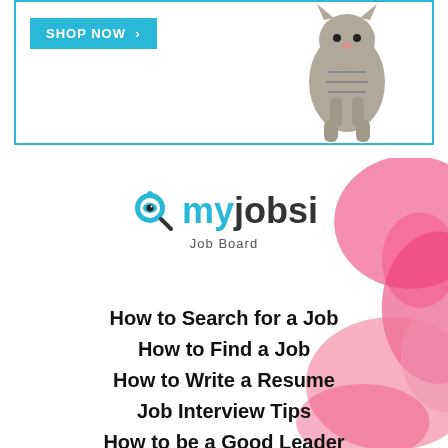[Figure (advertisement): Advertisement banner with a teal 'SHOP NOW >' button and a tabby cat walking on white background, inside a teal border]
[Figure (logo): myjobsi Job Board logo with a magnifying glass with an eye icon, text 'my' in teal, 'jobsi' in dark, subtitle 'Job Board']
How to Search for a Job
How to Find a Job
How to Write a Resume
Job Interview Tips
How to be a Good Leader